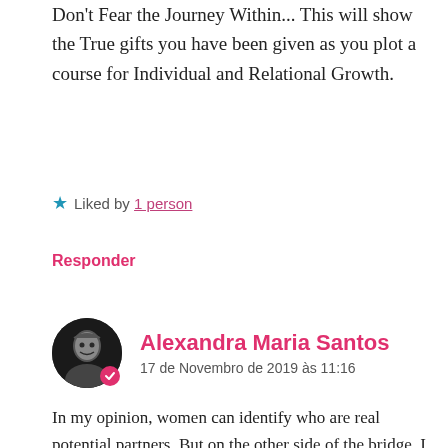Don't Fear the Journey Within... This will show the True gifts you have been given as you plot a course for Individual and Relational Growth.
★ Liked by 1 person
Responder
Alexandra Maria Santos
17 de Novembro de 2019 às 11:16
In my opinion, women can identify who are real potential partners. But on the other side of the bridge, I think there is too much pressure on how men should be and act.
★ Liked by 1 person